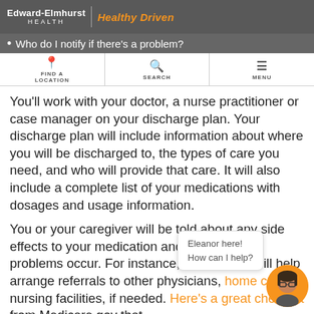Edward-Elmhurst HEALTH | Healthy Driven
Who do I notify if there's a problem?
[Figure (screenshot): Website navigation bar with FIND A LOCATION, SEARCH, and MENU buttons]
You'll work with your doctor, a nurse practitioner or case manager on your discharge plan. Your discharge plan will include information about where you will be discharged to, the types of care you need, and who will provide that care. It will also include a complete list of your medications with dosages and usage information.
You or your caregiver will be told about any side effects to your medication and what to do if problems occur. For instance, our hospital will help arrange referrals to other physicians, home care or nursing facilities, if needed. Here's a great checklist from Medicare.gov that